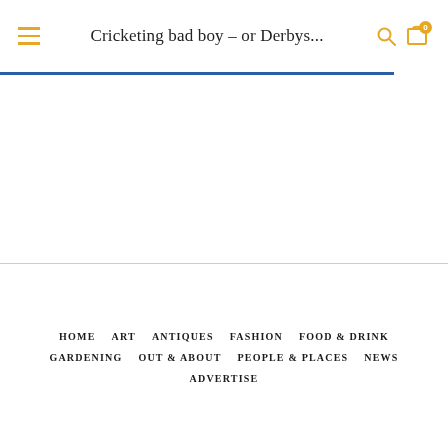Cricketing bad boy – or Derbys...
HOME   ART   ANTIQUES   FASHION   FOOD & DRINK   GARDENING   OUT & ABOUT   PEOPLE & PLACES   NEWS   ADVERTISE